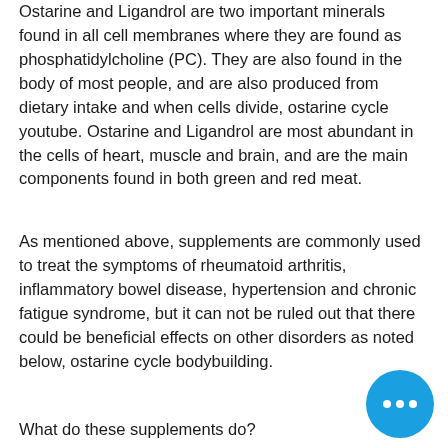Ostarine and Ligandrol are two important minerals found in all cell membranes where they are found as phosphatidylcholine (PC). They are also found in the body of most people, and are also produced from dietary intake and when cells divide, ostarine cycle youtube. Ostarine and Ligandrol are most abundant in the cells of heart, muscle and brain, and are the main components found in both green and red meat.
As mentioned above, supplements are commonly used to treat the symptoms of rheumatoid arthritis, inflammatory bowel disease, hypertension and chronic fatigue syndrome, but it can not be ruled out that there could be beneficial effects on other disorders as noted below, ostarine cycle bodybuilding.
What do these supplements do?